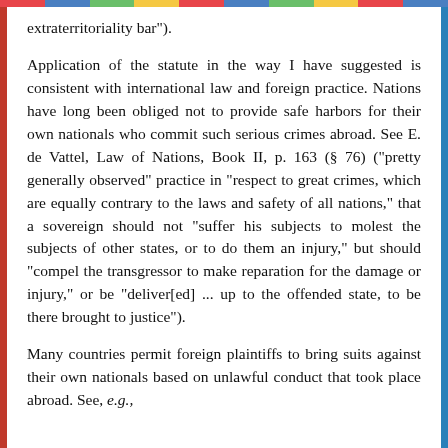extraterritoriality bar").
Application of the statute in the way I have suggested is consistent with international law and foreign practice. Nations have long been obliged not to provide safe harbors for their own nationals who commit such serious crimes abroad. See E. de Vattel, Law of Nations, Book II, p. 163 (§ 76) ("pretty generally observed" practice in "respect to great crimes, which are equally contrary to the laws and safety of all nations," that a sovereign should not "suffer his subjects to molest the subjects of other states, or to do them an injury," but should "compel the transgressor to make reparation for the damage or injury," or be "deliver[ed] ... up to the offended state, to be there brought to justice").
Many countries permit foreign plaintiffs to bring suits against their own nationals based on unlawful conduct that took place abroad. See, e.g.,